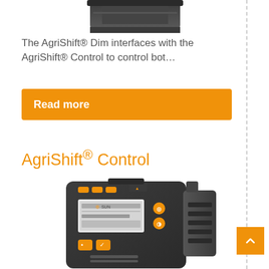[Figure (photo): Partial view of AgriShift Dim device, dark grey rectangular unit, cropped at top]
The AgriShift® Dim interfaces with the AgriShift® Control to control bot…
Read more
AgriShift® Control
[Figure (photo): AgriShift Control device, dark grey rugged box with orange buttons and a small LCD screen showing SUN text, with multiple orange circular controls]